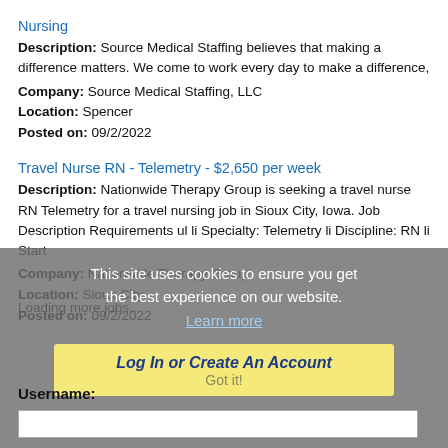Nursing
Description: Source Medical Staffing believes that making a difference matters. We come to work every day to make a difference,
Company: Source Medical Staffing, LLC
Location: Spencer
Posted on: 09/2/2022
Travel Nurse RN - Telemetry - $2,650 per week
Description: Nationwide Therapy Group is seeking a travel nurse RN Telemetry for a travel nursing job in Sioux City, Iowa. Job Description Requirements ul li Specialty: Telemetry li Discipline: RN li Start
Company: Nationwide Therapy Group
Location: Sioux City
Posted on: 09/2/2022
Loading more jobs...
This site uses cookies to ensure you get the best experience on our website. Learn more
Log In or Create An Account
Got it!
Username: